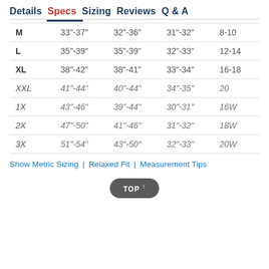Details  Specs  Sizing  Reviews  Q & A
| M | 33"-37" | 32"-36" | 31"-32" | 8-10 |
| L | 35"-39" | 35"-39" | 32"-33" | 12-14 |
| XL | 38"-42" | 38"-41" | 33"-34" | 16-18 |
| XXL | 41"-44" | 40"-44" | 34"-35" | 20 |
| 1X | 43"-46" | 39"-44" | 30"-31" | 16W |
| 2X | 47"-50" | 41"-46" | 31"-32" | 18W |
| 3X | 51"-54" | 43"-50" | 32"-33" | 20W |
Show Metric Sizing | Relaxed Fit | Measurement Tips
TOP ↑